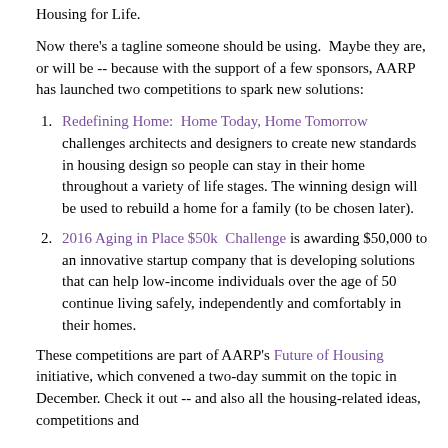Housing for Life.
Now there's a tagline someone should be using. Maybe they are, or will be -- because with the support of a few sponsors, AARP has launched two competitions to spark new solutions:
Redefining Home: Home Today, Home Tomorrow challenges architects and designers to create new standards in housing design so people can stay in their home throughout a variety of life stages. The winning design will be used to rebuild a home for a family (to be chosen later).
2016 Aging in Place $50k Challenge is awarding $50,000 to an innovative startup company that is developing solutions that can help low-income individuals over the age of 50 continue living safely, independently and comfortably in their homes.
These competitions are part of AARP's Future of Housing initiative, which convened a two-day summit on the topic in December. Check it out -- and also all the housing-related ideas, competitions and...